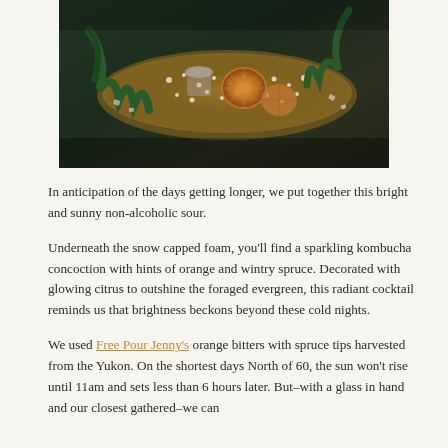[Figure (photo): A dark, moody overhead photo of a golden/brass tray with rock salt, dried orange slices, pine/spruce branches, and glasses, on a dark green surface.]
In anticipation of the days getting longer, we put together this bright and sunny non-alcoholic sour.
Underneath the snow capped foam, you'll find a sparkling kombucha concoction with hints of orange and wintry spruce. Decorated with glowing citrus to outshine the foraged evergreen, this radiant cocktail reminds us that brightness beckons beyond these cold nights.
We used Free Pour Jenny's orange bitters with spruce tips harvested from the Yukon. On the shortest days North of 60, the sun won't rise until 11am and sets less than 6 hours later. But–with a glass in hand and our closest gathered–we can